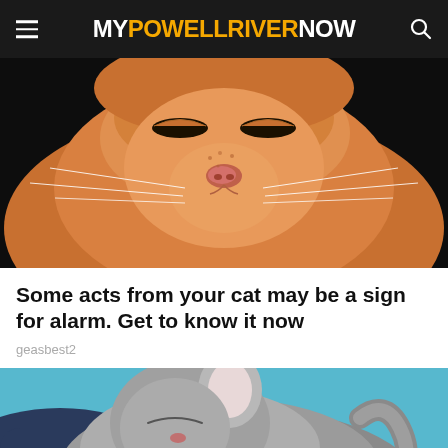MY POWELL RIVER NOW
[Figure (photo): Close-up photo of an orange tabby cat's face from below, showing nose, whiskers, and partly closed eyes, against a black background]
Some acts from your cat may be a sign for alarm. Get to know it now
geasbest2
[Figure (photo): Gray tabby kitten curled up and sleeping, with one paw near its face and a blue background visible behind it]